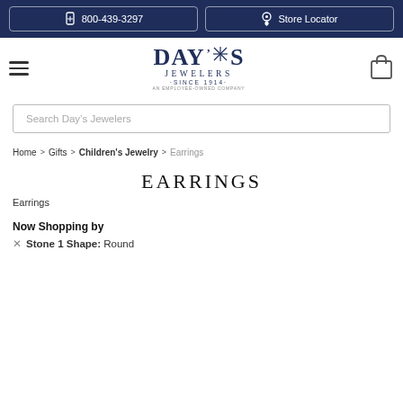800-439-3297  Store Locator
[Figure (logo): Day's Jewelers logo - Since 1914, An Employee-Owned Company]
Search Day's Jewelers
Home > Gifts > Children's Jewelry > Earrings
EARRINGS
Earrings
Now Shopping by
× Stone 1 Shape: Round